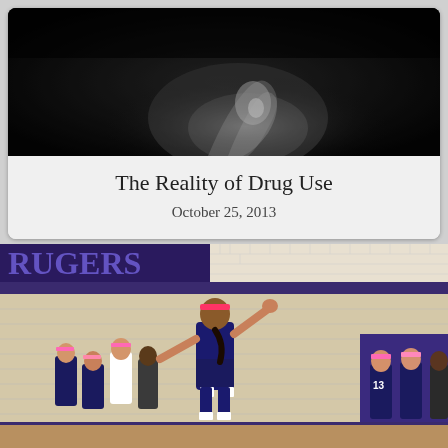[Figure (photo): Black and white close-up photo of a hand or face in dramatic lighting against dark background]
The Reality of Drug Use
October 25, 2013
[Figure (photo): Color photo of girls volleyball game in a gymnasium with purple and gold school colors. A player in a dark navy uniform with pink headband is jumping to spike or serve the ball. Other players and spectators visible in background.]